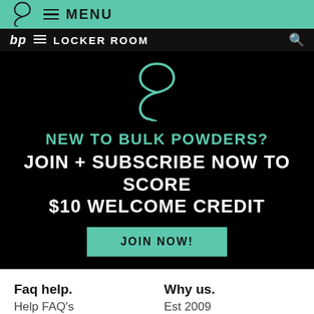MENU
bp LOCKER ROOM
[Figure (logo): Bulk Powders teal logo mark — stylized infinity/bp symbol]
NEW TO BULK POWDERS? JOIN + SUBSCRIBE NOW TO SCORE $10 WELCOME CREDIT
JOIN NOW!
Faq help.
Help FAQ's
Why us.
Est 2009